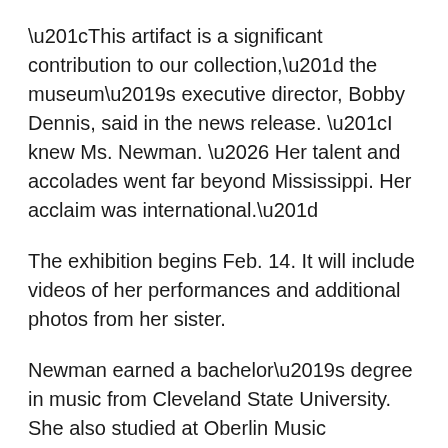“This artifact is a significant contribution to our collection,” the museum’s executive director, Bobby Dennis, said in the news release. “I knew Ms. Newman. … Her talent and accolades went far beyond Mississippi. Her acclaim was international.”
The exhibition begins Feb. 14. It will include videos of her performances and additional photos from her sister.
Newman earned a bachelor’s degree in music from Cleveland State University. She also studied at Oberlin Music Conservatory and Oglebay Opera Institute.
Newman sang on five continents and worked with Leonard Bernstein and Robert Shaw, according to a biography published by an arts group she led. As a soprano soloist, one of the roles she performed most often was as Cio-Cio-San in “Madame Butterfly.” Her Tony nomination was for a